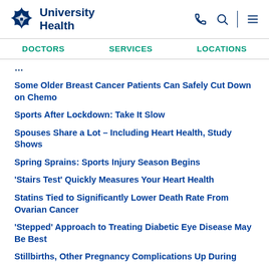University Health
DOCTORS
SERVICES
LOCATIONS
Some Older Breast Cancer Patients Can Safely Cut Down on Chemo
Sports After Lockdown: Take It Slow
Spouses Share a Lot &ndash; Including Heart Health, Study Shows
Spring Sprains: Sports Injury Season Begins
'Stairs Test' Quickly Measures Your Heart Health
Statins Tied to Significantly Lower Death Rate From Ovarian Cancer
'Stepped' Approach to Treating Diabetic Eye Disease May Be Best
Stillbirths, Other Pregnancy Complications Up During